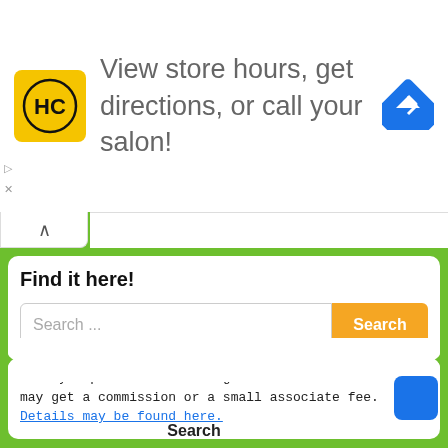[Figure (logo): HC (Haircut/salon) logo - yellow square with HC text and navigation arrow icon, with ad text 'View store hours, get directions, or call your salon!']
Find it here!
Search ...
When you purchase something via one of our links, we may get a commission or a small associate fee. Details may be found here.
Search